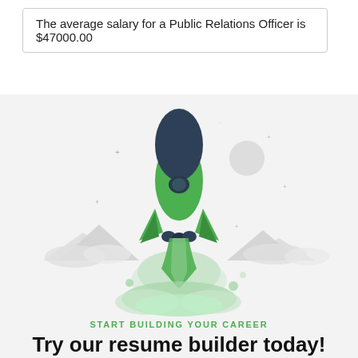The average salary for a Public Relations Officer is $47000.00
[Figure (illustration): Flat illustration of a green space shuttle launching with green smoke clouds below, grey mountain silhouettes, white clouds, stars, and a grey moon in a light grey background.]
START BUILDING YOUR CAREER
Try our resume builder today!